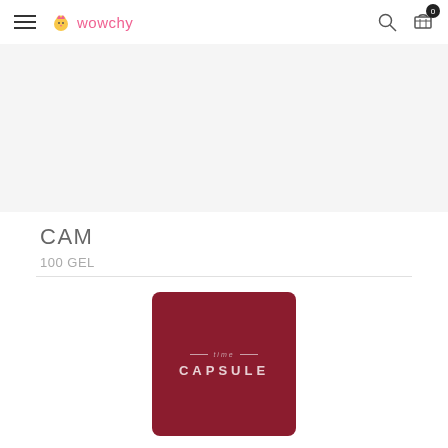wowchy navigation bar with hamburger menu, search and cart icons
CAM
100 GEL
[Figure (logo): Time Capsule product image: dark red/maroon square with rounded corners, text 'time CAPSULE' in light pinkish letters]
CAPSULE
100 GEL